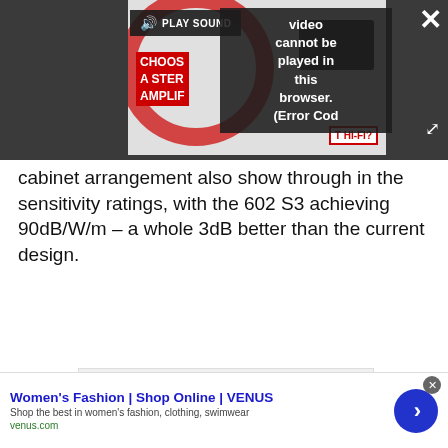[Figure (screenshot): Video player showing error overlay: 'Video cannot be played in this browser. (Error Cod...' with PLAY SOUND button, close X button, expand button, and partial hi-fi product thumbnail in background.]
cabinet arrangement also show through in the sensitivity ratings, with the 602 S3 achieving 90dB/W/m – a whole 3dB better than the current design.
[Figure (other): Advertisement placeholder box with label 'Advertisement']
[Figure (other): Bottom banner ad: Women's Fashion | Shop Online | VENUS. Shop the best in women's fashion, clothing, swimwear. venus.com]